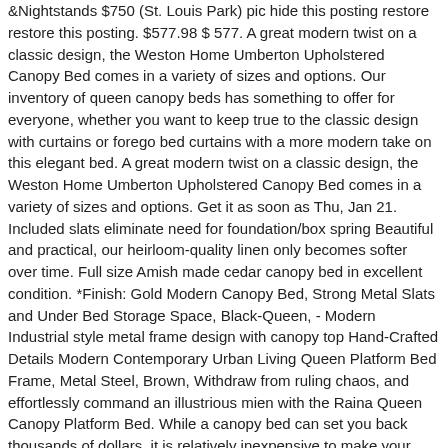&Nightstands $750 (St. Louis Park) pic hide this posting restore restore this posting. $577.98 $ 577. A great modern twist on a classic design, the Weston Home Umberton Upholstered Canopy Bed comes in a variety of sizes and options. Our inventory of queen canopy beds has something to offer for everyone, whether you want to keep true to the classic design with curtains or forego bed curtains with a more modern take on this elegant bed. A great modern twist on a classic design, the Weston Home Umberton Upholstered Canopy Bed comes in a variety of sizes and options. Get it as soon as Thu, Jan 21. Included slats eliminate need for foundation/box spring Beautiful and practical, our heirloom-quality linen only becomes softer over time. Full size Amish made cedar canopy bed in excellent condition. *Finish: Gold Modern Canopy Bed, Strong Metal Slats and Under Bed Storage Space, Black-Queen, - Modern Industrial style metal frame design with canopy top Hand-Crafted Details Modern Contemporary Urban Living Queen Platform Bed Frame, Metal Steel, Brown, Withdraw from ruling chaos, and effortlessly command an illustrious mien with the Raina Queen Canopy Platform Bed. While a canopy bed can set you back thousands of dollars, it is relatively inexpensive to make your own out of lumber and a lot simpler than most would expect. Start by cutting your posts to −88 inches (this doesn't need to be exact, because you'll re-cut to the proper length after gluing). $629.00 - $756.50 reg $740.00 - $890.00. Raina eliminates the need for a box spring and supports mattress types such as memory foam, spring, latex, and hybrid. See more ideas about